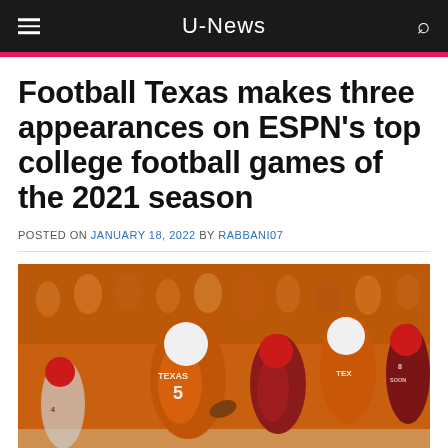U-News
Football Texas makes three appearances on ESPN’s top college football games of the 2021 season
POSTED ON JANUARY 18, 2022 BY RABBANI07
[Figure (photo): Texas Longhorns football player #5 in orange jersey running with the ball against Oklahoma Sooners defenders in red/white jerseys, with a packed crowd in the background]